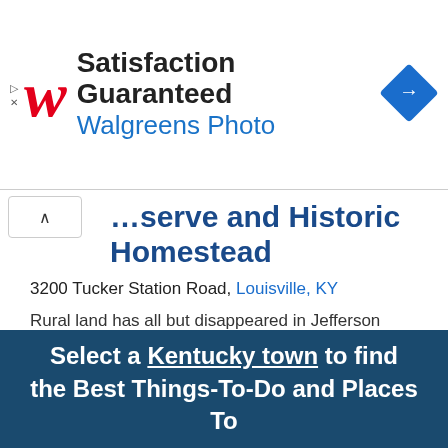[Figure (other): Walgreens Photo advertisement banner with red W logo, 'Satisfaction Guaranteed' headline, 'Walgreens Photo' subheading, and a blue diamond navigation icon]
serve and Historic Homestead
3200 Tucker Station Road, Louisville, KY
Rural land has all but disappeared in Jefferson County–and with it, our only ties to the history of Kentucky's early settlement. The B… Read More
Show More
Select a Kentucky town to find the Best Things-To-Do and Places To